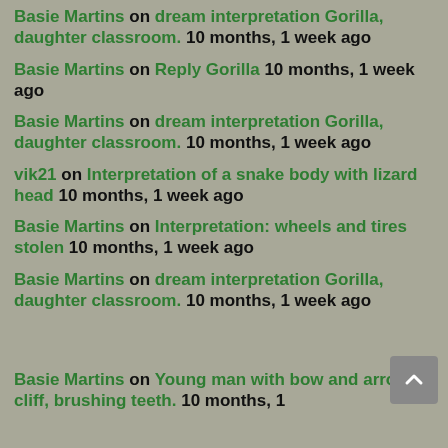Basie Martins on dream interpretation Gorilla, daughter classroom. 10 months, 1 week ago
Basie Martins on Reply Gorilla 10 months, 1 week ago
Basie Martins on dream interpretation Gorilla, daughter classroom. 10 months, 1 week ago
vik21 on Interpretation of a snake body with lizard head 10 months, 1 week ago
Basie Martins on Interpretation: wheels and tires stolen 10 months, 1 week ago
Basie Martins on dream interpretation Gorilla, daughter classroom. 10 months, 1 week ago
Basie Martins on Young man with bow and arrow, cliff, brushing teeth. 10 months, 1